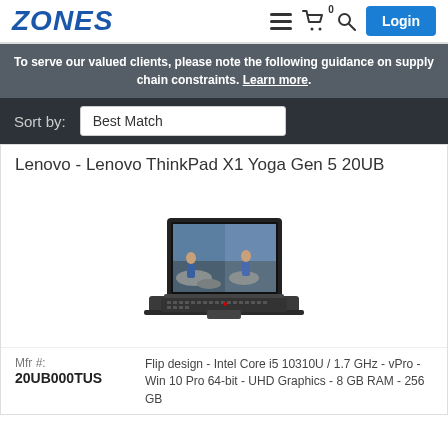ZONES
To serve our valued clients, please note the following guidance on supply chain constraints. Learn more.
Sort by: Best Match
Lenovo - Lenovo ThinkPad X1 Yoga Gen 5 20UB
[Figure (photo): Lenovo ThinkPad X1 Yoga Gen 5 laptop open showing a person at the beach on the display]
Mfr #: 20UB000TUS
Flip design - Intel Core i5 10310U / 1.7 GHz - vPro - Win 10 Pro 64-bit - UHD Graphics - 8 GB RAM - 256 GB